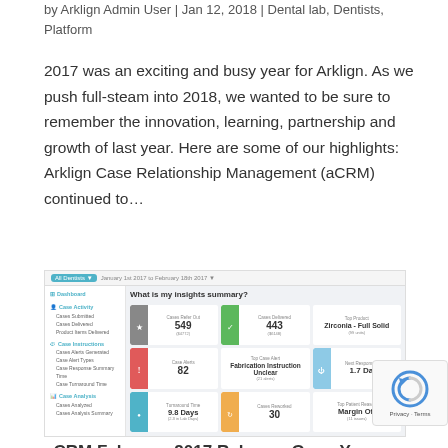by Arklign Admin User | Jan 12, 2018 | Dental lab, Dentists, Platform
2017 was an exciting and busy year for Arklign. As we push full-steam into 2018, we wanted to be sure to remember the innovation, learning, partnership and growth of last year. Here are some of our highlights: Arklign Case Relationship Management (aCRM) continued to…
[Figure (screenshot): Dashboard screenshot showing 'What is my insights summary?' with stats: Cases Refer Out 549 ($4772), Cases Delivered 443 ($6148), Case Alerts 82, Top Case Alert: Fabrication Instruction Unclear (21 alerts), Turnaround Time 9.8 Days (2.3 in Lab Days), Cases Reworked 30, Top Product: Zirconia - Full Solid (99 units), Next Response Time 1.7 Days, Top Patient Reason: Margin Off (11 issues)]
aCRM February 2017 Release: Grow Your…